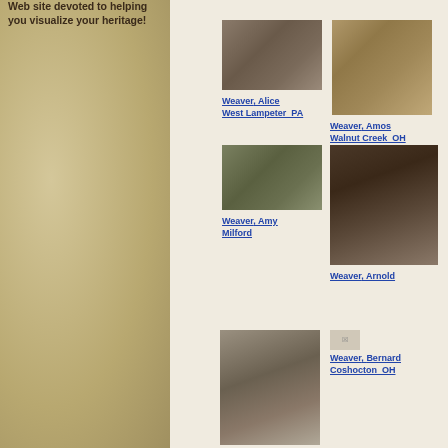Web site devoted to helping you visualize your heritage!
[Figure (photo): Group photo, black and white, many people seated outdoors]
Weaver, Alice
West Lampeter  PA
[Figure (photo): Sepia toned outdoor scene, possibly a building or landscape]
Weaver, Amos
Walnut Creek  OH
[Figure (photo): Outdoor group photo, people seated at a table, black and white]
Weaver, Amy
Milford
[Figure (photo): Portrait of woman holding a baby, black and white]
Weaver, Arnold
[Figure (photo): Portrait of elderly woman, oval frame, signed]
[Figure (photo): Broken/missing image placeholder]
Weaver, Bernard
Coshocton  OH